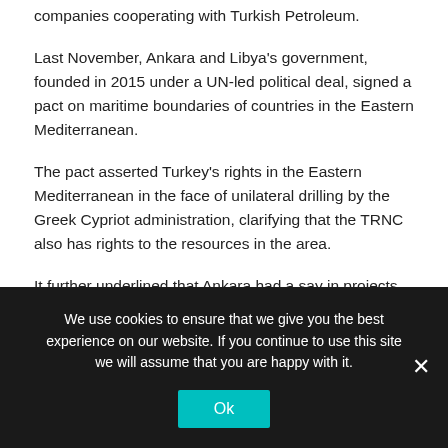companies cooperating with Turkish Petroleum.
Last November, Ankara and Libya's government, founded in 2015 under a UN-led political deal, signed a pact on maritime boundaries of countries in the Eastern Mediterranean.
The pact asserted Turkey's rights in the Eastern Mediterranean in the face of unilateral drilling by the Greek Cypriot administration, clarifying that the TRNC also has rights to the resources in the area.
It further underlined that Ankara had a say in projects that involve it, as it has the longest coastline in the Mediterranean.
We use cookies to ensure that we give you the best experience on our website. If you continue to use this site we will assume that you are happy with it.